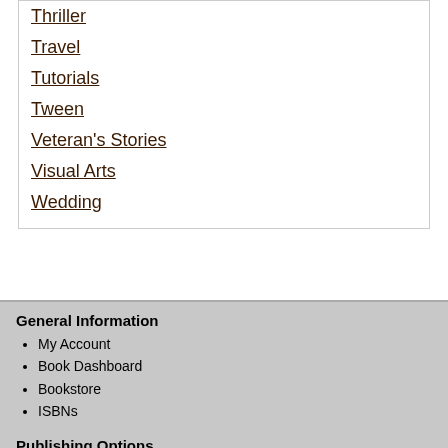Thriller
Travel
Tutorials
Tween
Veteran's Stories
Visual Arts
Wedding
General Information
My Account
Book Dashboard
Bookstore
ISBNs
Publishing Options
Email Support